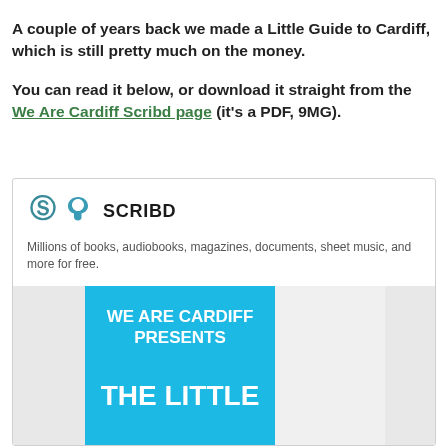A couple of years back we made a Little Guide to Cardiff, which is still pretty much on the money.
You can read it below, or download it straight from the We Are Cardiff Scribd page (it's a PDF, 9MG).
[Figure (screenshot): Scribd embed showing logo 'SCRIBD', tagline 'Millions of books, audiobooks, magazines, documents, sheet music, and more for free.' and a blue preview card reading 'WE ARE CARDIFF PRESENTS THE LITTLE']